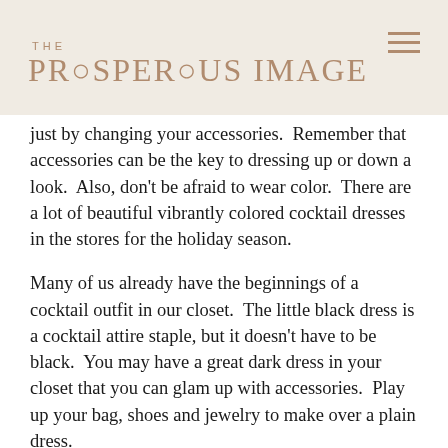THE PROSPEROUS IMAGE
just by changing your accessories.  Remember that accessories can be the key to dressing up or down a look.  Also, don't be afraid to wear color.  There are a lot of beautiful vibrantly colored cocktail dresses in the stores for the holiday season.
Many of us already have the beginnings of a cocktail outfit in our closet.  The little black dress is a cocktail attire staple, but it doesn't have to be black.  You may have a great dark dress in your closet that you can glam up with accessories.  Play up your bag, shoes and jewelry to make over a plain dress.
Most of us have some type of dressy or evening top in our closets.  Pair that with dress pants, a skirt, or even a suit for a more conservative office party. Your shoes can play a big role in dressing up your look.  Metallic shoes, or shoes with lace, satin, patent leather, and